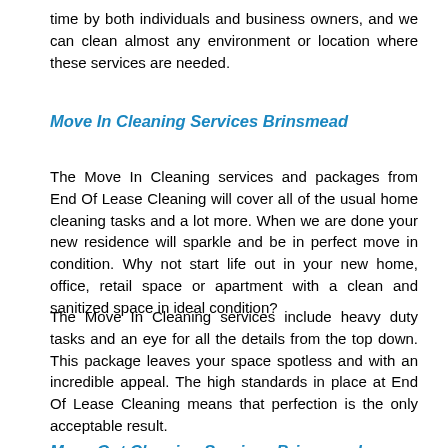time by both individuals and business owners, and we can clean almost any environment or location where these services are needed.
Move In Cleaning Services Brinsmead
The Move In Cleaning services and packages from End Of Lease Cleaning will cover all of the usual home cleaning tasks and a lot more. When we are done your new residence will sparkle and be in perfect move in condition. Why not start life out in your new home, office, retail space or apartment with a clean and sanitized space in ideal condition?
The Move In Cleaning services include heavy duty tasks and an eye for all the details from the top down. This package leaves your space spotless and with an incredible appeal. The high standards in place at End Of Lease Cleaning means that perfection is the only acceptable result.
Move Out Cleaning Services Brinsmead